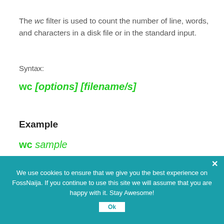The wc filter is used to count the number of line, words, and characters in a disk file or in the standard input.
Syntax:
wc [options] [filename/s]
Example
wc sample
We use cookies to ensure that we give you the best experience on FossNaija. If you continue to use this site we will assume that you are happy with it. Stay Awesome!